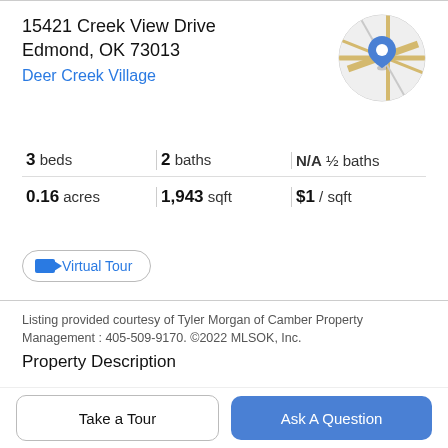15421 Creek View Drive
Edmond, OK 73013
Deer Creek Village
[Figure (map): Circular map thumbnail with a blue location pin marker and road map background]
3 beds   2 baths   N/A ½ baths
0.16 acres   1,943 sqft   $1 / sqft
Virtual Tour
Listing provided courtesy of Tyler Morgan of Camber Property Management : 405-509-9170. ©2022 MLSOK, Inc.
Property Description
Beautiful 3 Bedroom 2 Bathroom home in Deer Creek
Take a Tour
Ask A Question